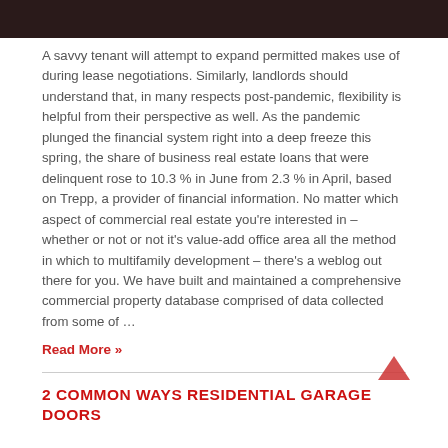[Figure (photo): Dark image strip at top of page showing partial figures]
A savvy tenant will attempt to expand permitted makes use of during lease negotiations. Similarly, landlords should understand that, in many respects post-pandemic, flexibility is helpful from their perspective as well. As the pandemic plunged the financial system right into a deep freeze this spring, the share of business real estate loans that were delinquent rose to 10.3 % in June from 2.3 % in April, based on Trepp, a provider of financial information. No matter which aspect of commercial real estate you're interested in – whether or not or not it's value-add office area all the method in which to multifamily development – there's a weblog out there for you. We have built and maintained a comprehensive commercial property database comprised of data collected from some of …
Read More »
[Figure (other): Scroll-to-top arrow button]
2 COMMON WAYS RESIDENTIAL GARAGE DOORS